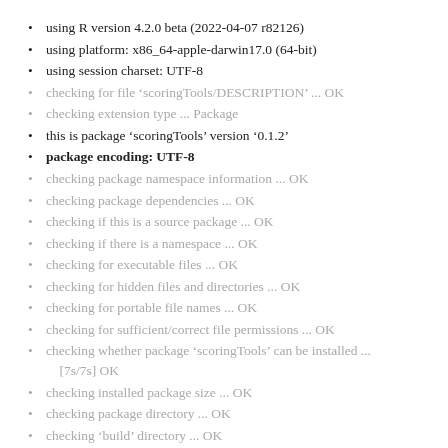using R version 4.2.0 beta (2022-04-07 r82126)
using platform: x86_64-apple-darwin17.0 (64-bit)
using session charset: UTF-8
checking for file ‘scoringTools/DESCRIPTION’ ... OK
checking extension type ... Package
this is package ‘scoringTools’ version ‘0.1.2’
package encoding: UTF-8
checking package namespace information ... OK
checking package dependencies ... OK
checking if this is a source package ... OK
checking if there is a namespace ... OK
checking for executable files ... OK
checking for hidden files and directories ... OK
checking for portable file names ... OK
checking for sufficient/correct file permissions ... OK
checking whether package ‘scoringTools’ can be installed ... [7s/7s] OK
checking installed package size ... OK
checking package directory ... OK
checking ‘build’ directory ... OK
checking DESCRIPTION meta-information ... OK
checking top-level files ... OK
checking for left-over files ... OK
checking index information ... OK